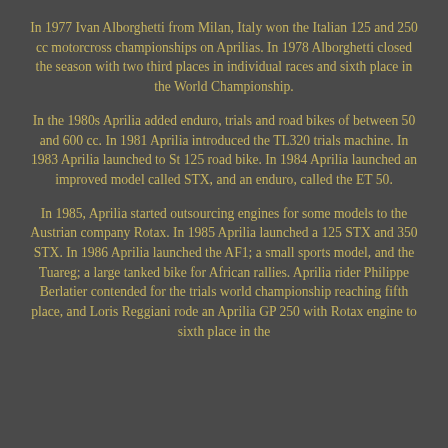In 1977 Ivan Alborghetti from Milan, Italy won the Italian 125 and 250 cc motorcross championships on Aprilias. In 1978 Alborghetti closed the season with two third places in individual races and sixth place in the World Championship.
In the 1980s Aprilia added enduro, trials and road bikes of between 50 and 600 cc. In 1981 Aprilia introduced the TL320 trials machine. In 1983 Aprilia launched to St 125 road bike. In 1984 Aprilia launched an improved model called STX, and an enduro, called the ET 50.
In 1985, Aprilia started outsourcing engines for some models to the Austrian company Rotax. In 1985 Aprilia launched a 125 STX and 350 STX. In 1986 Aprilia launched the AF1; a small sports model, and the Tuareg; a large tanked bike for African rallies. Aprilia rider Philippe Berlatier contended for the trials world championship reaching fifth place, and Loris Reggiani rode an Aprilia GP 250 with Rotax engine to sixth place in the